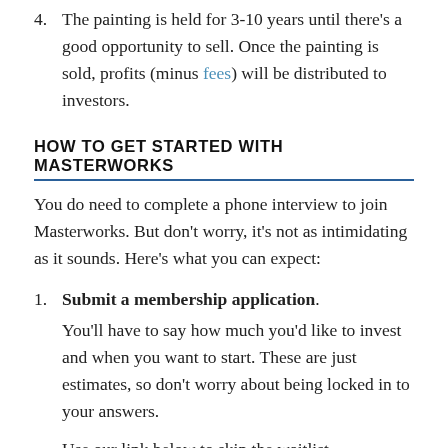4. The painting is held for 3-10 years until there's a good opportunity to sell. Once the painting is sold, profits (minus fees) will be distributed to investors.
HOW TO GET STARTED WITH MASTERWORKS
You do need to complete a phone interview to join Masterworks. But don't worry, it's not as intimidating as it sounds. Here's what you can expect:
1. Submit a membership application. You'll have to say how much you'd like to invest and when you want to start. These are just estimates, so don't worry about being locked in to your answers.
Use our link below to skip the waitlist.